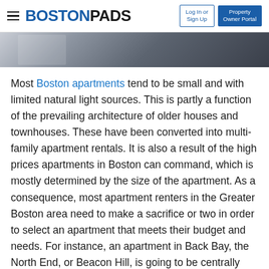BOSTONPADS — Log In or Sign Up | Property Owner Portal
[Figure (photo): Partial photo strip showing blurred interior scene, dark tones]
Most Boston apartments tend to be small and with limited natural light sources. This is partly a function of the prevailing architecture of older houses and townhouses. These have been converted into multi-family apartment rentals. It is also a result of the high prices apartments in Boston can command, which is mostly determined by the size of the apartment. As a consequence, most apartment renters in the Greater Boston area need to make a sacrifice or two in order to select an apartment that meets their budget and needs. For instance, an apartment in Back Bay, the North End, or Beacon Hill, is going to be centrally located. It is also likely going to be an older home that was divided into